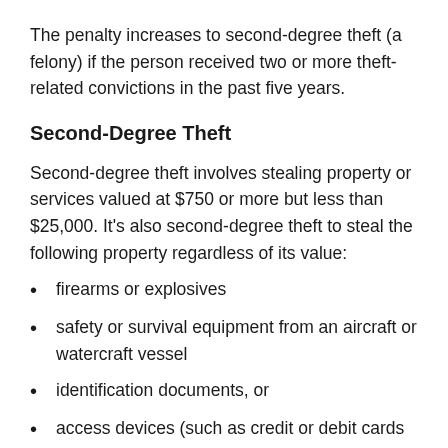The penalty increases to second-degree theft (a felony) if the person received two or more theft-related convictions in the past five years.
Second-Degree Theft
Second-degree theft involves stealing property or services valued at $750 or more but less than $25,000. It's also second-degree theft to steal the following property regardless of its value:
firearms or explosives
safety or survival equipment from an aircraft or watercraft vessel
identification documents, or
access devices (such as credit or debit cards